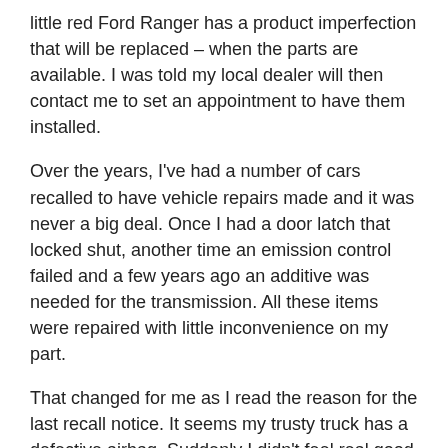little red Ford Ranger has a product imperfection that will be replaced – when the parts are available. I was told my local dealer will then contact me to set an appointment to have them installed.
Over the years, I've had a number of cars recalled to have vehicle repairs made and it was never a big deal. Once I had a door latch that locked shut, another time an emission control failed and a few years ago an additive was needed for the transmission. All these items were repaired with little inconvenience on my part.
That changed for me as I read the reason for the last recall notice. It seems my trusty truck has a defective airbag. Suddenly I didn't feel real good about this news.
I had been aware of the Takata Airbag problem for some time and had seen the news reports detailing the eight fatalities and more than 100 injuries linked to these safety devices over 15 years (1987-2012). I had also watched a news report of a lady